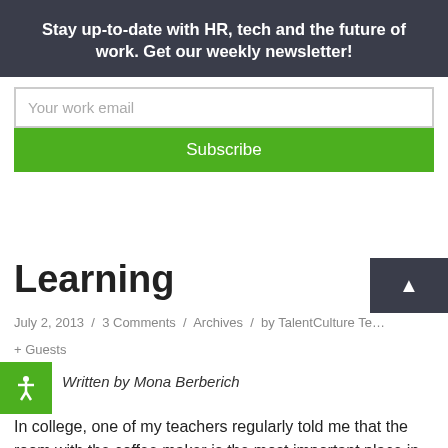Stay up-to-date with HR, tech and the future of work. Get our weekly newsletter!
Your work email
Subscribe
Learning
July 2, 2013 / 3 Comments / Archives / by TalentCulture Te… + Guests
Written by Mona Berberich
In college, one of my teachers regularly told me that the room with the coffee maker is the most important place in an office, because it's where people learn the most. At the time, I thought that this guy was perhaps a lazy coffee addict who was definitely in the wrong job.
However, 10 years later, I realize that he was right. The space near the coffee machine was where people